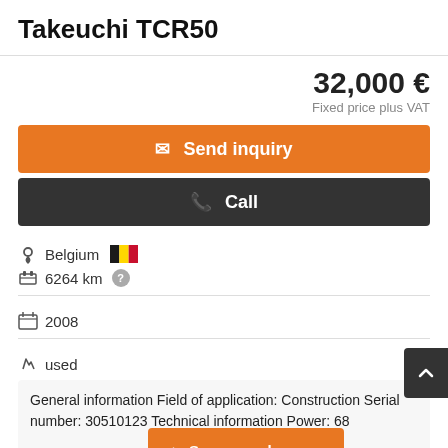Takeuchi TCR50
32,000 €
Fixed price plus VAT
Send inquiry
Call
Belgium
6264 km
2008
used
General information Field of application: Construction Serial number: 30510123 Technical information Power: 68  kg Make of engine: Yanmar/4TNV106-NTB Functional Epesxzvf3 Dimensions of cargo space: 66 x 2 x 2 cm
Save search query